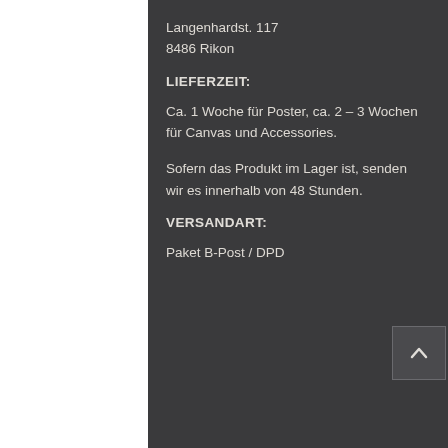Langenhardst. 117
8486 Rikon
LIEFERZEIT:
Ca. 1 Woche für Poster, ca. 2 – 3 Wochen für Canvas und Accessories.
Sofern das Produkt im Lager ist, senden wir es innerhalb von 48 Stunden.
VERSANDART:
Paket B-Post / DPD
[Figure (other): Scroll-to-top button with upward chevron arrow icon]